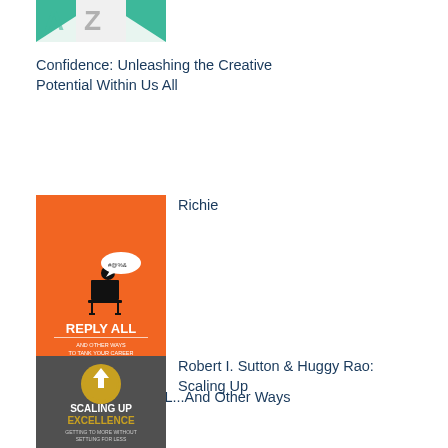[Figure (illustration): Partial book cover at top of page - green/teal design with partial letters visible]
Confidence: Unleashing the Creative Potential Within Us All
[Figure (illustration): Book cover: REPLY ALL And Other Ways to Tank Your Career by Richie Frieman - orange background with silhouette of person at desk]
Richie
Frieman: REPLY ALL...And Other Ways to Tank Your Career
[Figure (illustration): Book cover: Scaling Up Excellence - Getting to More Without Settling for Less by Robert I. Sutton & Huggy Rao - dark grey background with gold circular arrow up icon]
Robert I. Sutton & Huggy Rao: Scaling Up